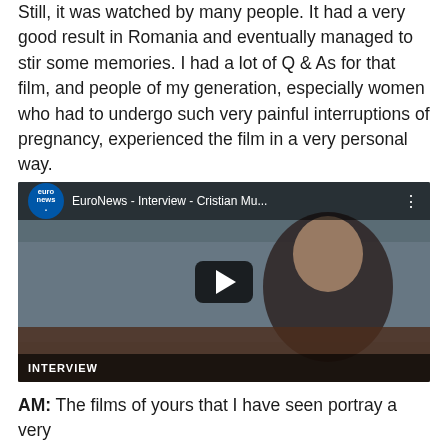Still, it was watched by many people. It had a very good result in Romania and eventually managed to stir some memories. I had a lot of Q & As for that film, and people of my generation, especially women who had to undergo such very painful interruptions of pregnancy, experienced the film in a very personal way.
[Figure (screenshot): Embedded YouTube video thumbnail showing EuroNews interview with Cristian Mu... A man with dark hair sits in front of a lattice fence with a city background. A play button is centered on the video. The EuroNews logo is in the top-left. An 'INTERVIEW' label appears at the bottom-left.]
AM: The films of yours that I have seen portray a very